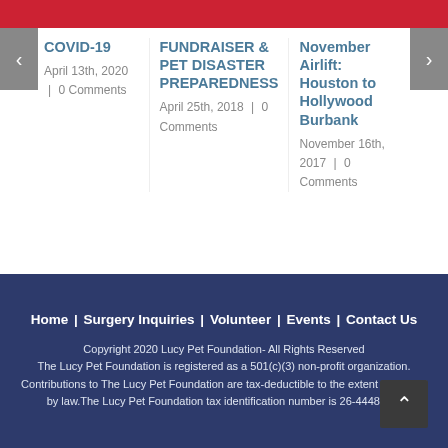COVID-19
April 13th, 2020  |  0 Comments
FUNDRAISER & PET DISASTER PREPAREDNESS
April 25th, 2018  |  0 Comments
November Airlift: Houston to Hollywood Burbank
November 16th, 2017  |  0 Comments
Home | Surgery Inquiries | Volunteer | Events | Contact Us
Copyright 2020 Lucy Pet Foundation- All Rights Reserved
The Lucy Pet Foundation is registered as a 501(c)(3) non-profit organization.
Contributions to The Lucy Pet Foundation are tax-deductible to the extent permitted by law. The Lucy Pet Foundation tax identification number is 26-4448238.